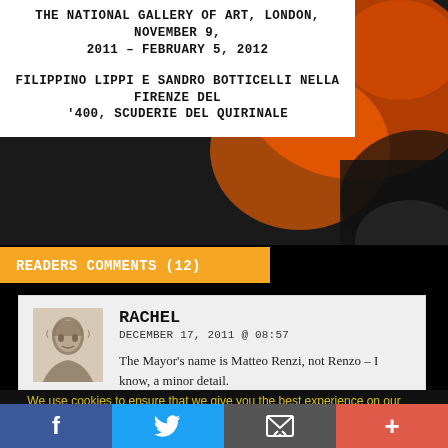THE NATIONAL GALLERY OF ART, LONDON, NOVEMBER 9, 2011 – FEBRUARY 5, 2012
FILIPPINO LIPPI E SANDRO BOTTICELLI NELLA FIRENZE DEL '400, SCUDERIE DEL QUIRINALE
[Figure (photo): Colorful abstract art background with orange/red and dark elements]
READERS COMMENTS (12)
RACHEL
DECEMBER 17, 2011 @ 08:57

The Mayor's name is Matteo Renzi, not Renzo – I know, a minor detail.
[Figure (photo): Avatar portrait illustration of a person in dark etching/sketch style]
We use cookies to ensure that we give you the best experience on our website. If you continue to use this site we will assume that you are happy with it.
[Figure (infographic): Social sharing bar with Facebook, Twitter, email/share, and plus buttons]